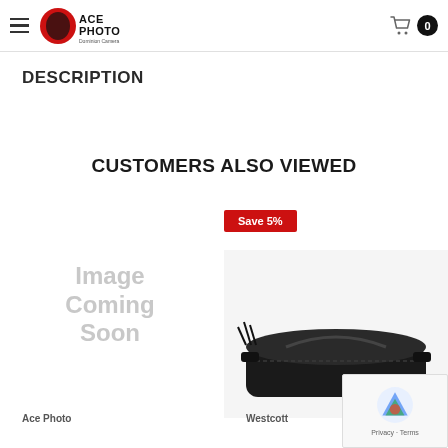Ace Photo Dominion Camera — navigation header with logo and cart
DESCRIPTION
CUSTOMERS ALSO VIEWED
[Figure (illustration): Image Coming Soon placeholder for product]
[Figure (photo): Product photo of a black padded carry bag/case for tripod or similar equipment, with Save 5% badge]
Ace Photo
Westcott